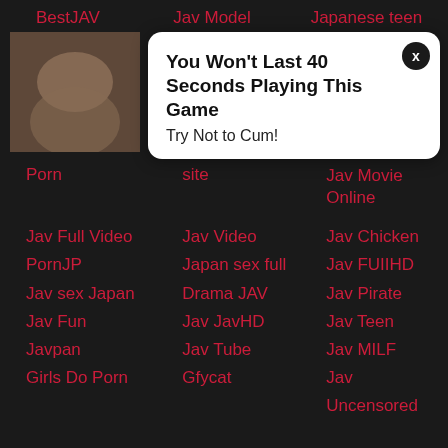BestJAV
Jav Model
Japanese teen
[Figure (photo): A blurry adult content thumbnail image]
You Won't Last 40 Seconds Playing This Game
Try Not to Cum!
Porn
site
Jav Movie Online
Jav Full Video
Jav Video
Jav Chicken
PornJP
Japan sex full
Jav FUIIHD
Jav sex Japan
Drama JAV
Jav Pirate
Jav Fun
Jav JavHD
Jav Teen
Javpan
Jav Tube
Jav MILF
Girls Do Porn
Gfycat
Jav Uncensored